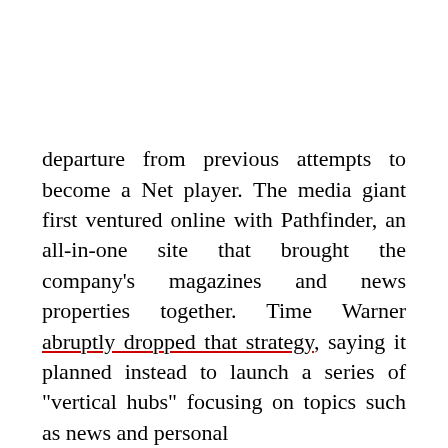departure from previous attempts to become a Net player. The media giant first ventured online with Pathfinder, an all-in-one site that brought the company's magazines and news properties together. Time Warner abruptly dropped that strategy, saying it planned instead to launch a series of "vertical hubs" focusing on topics such as news and personal